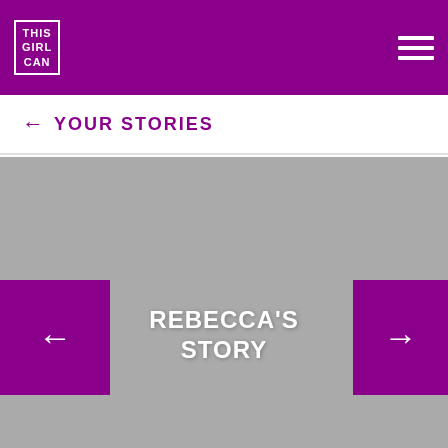THIS GIRL CAN
← YOUR STORIES
[Figure (photo): Large grey placeholder image area for Rebecca's story photo]
REBECCA'S STORY